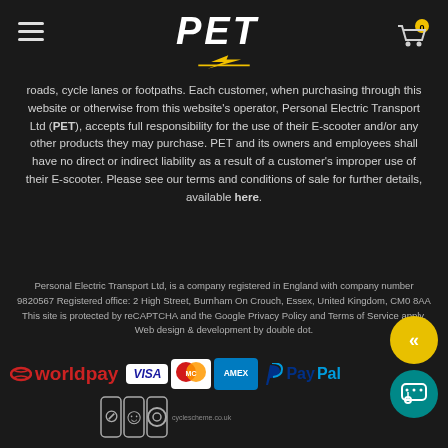PET (Personal Electric Transport logo with lightning bolt)
roads, cycle lanes or footpaths.  Each customer, when purchasing through this website or otherwise from this website's operator, Personal Electric Transport Ltd (PET), accepts full responsibility for the use of their E-scooter and/or any other products they may purchase.  PET and its owners and employees shall have no direct or indirect liability as a result of a customer's improper use of their E-scooter.  Please see our terms and conditions of sale for further details, available here.
Personal Electric Transport Ltd, is a company registered in England with company number 9820567 Registered office: 2 High Street, Burnham On Crouch, Essex, United Kingdom, CM0 8AA
This site is protected by reCAPTCHA and the Google Privacy Policy and Terms of Service apply. Web design & development by double dot.
[Figure (logo): Payment logos: worldpay, Visa, MasterCard, American Express, PayPal, Cyclescheme]